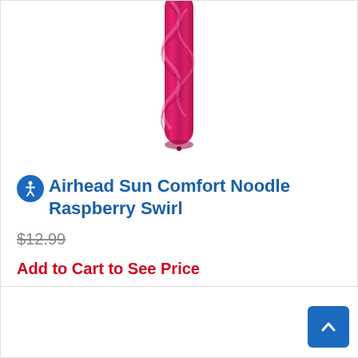[Figure (photo): Partial image of an Airhead Sun Comfort Pool Noodle in Raspberry Swirl color — a long, thin foam noodle with a hot pink/magenta swirl pattern, shown vertically cropped from the top.]
Airhead Sun Comfort Noodle Raspberry Swirl
$12.99
Add to Cart to See Price